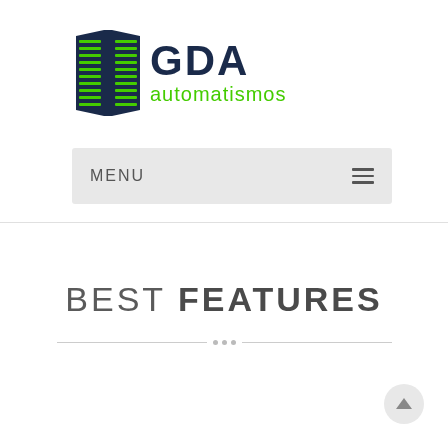[Figure (logo): GDA automatismos logo — dark navy shield/book icon with green horizontal lines on the left, and text 'GDA' in bold dark navy and 'automatismos' in green below]
MENU
BEST FEATURES
[Figure (other): Scroll-to-top circular button with upward arrow]